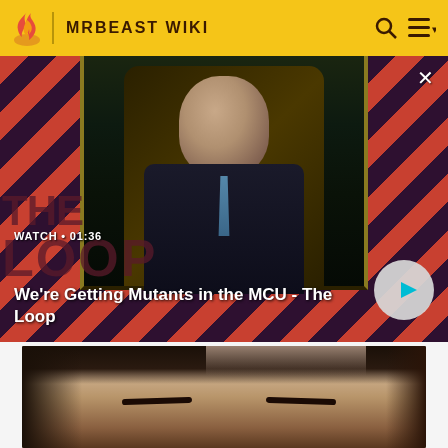MRBEAST WIKI
[Figure (screenshot): Video thumbnail with diagonal red and dark purple stripes background, bald man in suit seated, The Loop logo overlay. Text: WATCH • 01:36. Title: We're Getting Mutants in the MCU - The Loop]
[Figure (photo): Close-up photo of a person's face from the forehead down, dark hair, warm indoor lighting]